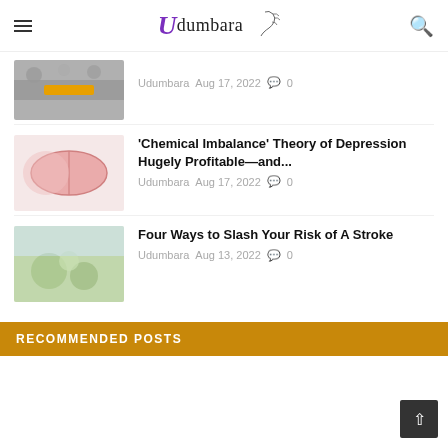Udumbara
[Figure (photo): Thumbnail image of a sports court or gym floor with orange markings and crowd]
Udumbara   Aug 17, 2022   0
[Figure (photo): Thumbnail image of a pink/red pill capsule on white background]
'Chemical Imbalance' Theory of Depression Hugely Profitable—and...
Udumbara   Aug 17, 2022   0
[Figure (photo): Thumbnail image of people outdoors, appears to be a group activity]
Four Ways to Slash Your Risk of A Stroke
Udumbara   Aug 13, 2022   0
RECOMMENDED POSTS